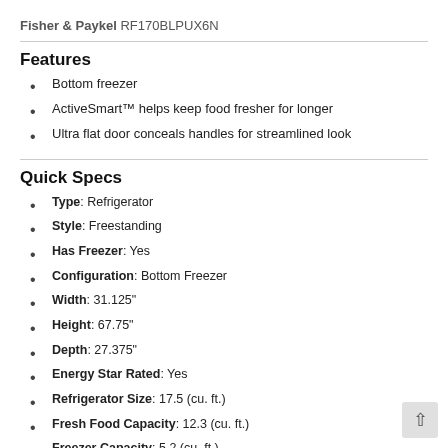Fisher & Paykel RF170BLPUX6N
Features
Bottom freezer
ActiveSmart™ helps keep food fresher for longer
Ultra flat door conceals handles for streamlined look
Quick Specs
Type: Refrigerator
Style: Freestanding
Has Freezer: Yes
Configuration: Bottom Freezer
Width: 31.125"
Height: 67.75"
Depth: 27.375"
Energy Star Rated: Yes
Refrigerator Size: 17.5 (cu. ft.)
Fresh Food Capacity: 12.3 (cu. ft.)
Freezer Capacity: 5.2 (cu. ft.)
Icemaker: Yes
Dispenser: Yes